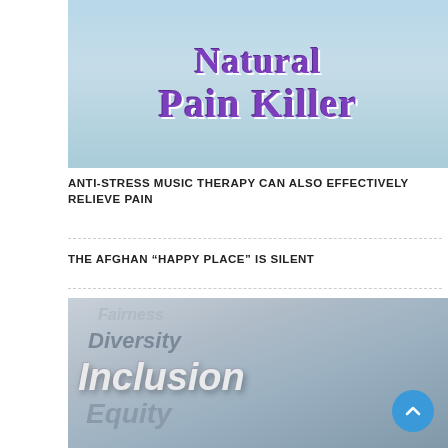[Figure (photo): Promotional image with text 'Natural Pain Killer' in purple bold font over a beach background with a person in white]
ANTI-STRESS MUSIC THERAPY CAN ALSO EFFECTIVELY RELIEVE PAIN
THE AFGHAN “HAPPY PLACE” IS SILENT
[Figure (photo): 3D rendered image with words Fairness, Diversity, Inclusion, Equity in metallic letters on a reflective surface]